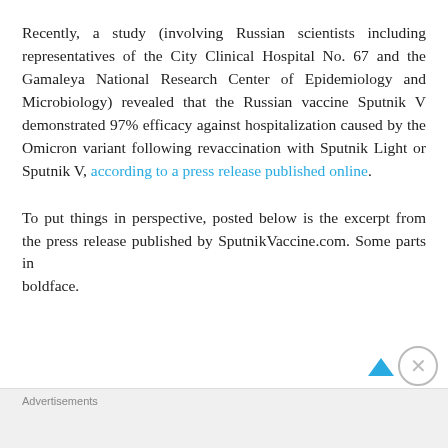Recently, a study (involving Russian scientists including representatives of the City Clinical Hospital No. 67 and the Gamaleya National Research Center of Epidemiology and Microbiology) revealed that the Russian vaccine Sputnik V demonstrated 97% efficacy against hospitalization caused by the Omicron variant following revaccination with Sputnik Light or Sputnik V, according to a press release published online.
To put things in perspective, posted below is the excerpt from the press release published by SputnikVaccine.com. Some parts in boldface.
Advertisements